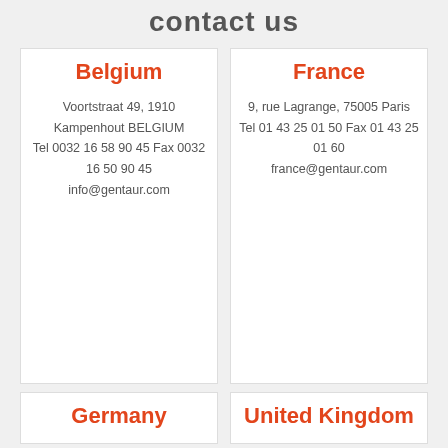contact us
Voortstraat 49, 1910 Kampenhout BELGIUM Tel 0032 16 58 90 45 Fax 0032 16 50 90 45 info@gentaur.com
Belgium
9, rue Lagrange, 75005 Paris Tel 01 43 25 01 50 Fax 01 43 25 01 60 france@gentaur.com
France
Germany
United Kingdom